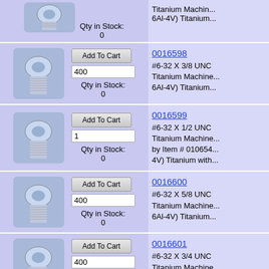| Product Image / Actions | Product Info |
| --- | --- |
| [screw image] Add To Cart | 0 | Qty in Stock: 0 | Titanium Machine... 6Al-4V) Titanium... |
| [screw image] Add To Cart | 400 | Qty in Stock: 0 | 0016598 | #6-32 X 3/8 UNC Titanium Machine... 6Al-4V) Titanium... |
| [screw image] Add To Cart | 1 | Qty in Stock: 0 | 0016599 | #6-32 X 1/2 UNC Titanium Machine... by Item # 010654... 4V) Titanium with... |
| [screw image] Add To Cart | 400 | Qty in Stock: 0 | 0016600 | #6-32 X 5/8 UNC Titanium Machine... 6Al-4V) Titanium... |
| [screw image] Add To Cart | 400 | Qty in Stock: 129 | 0016601 | #6-32 X 3/4 UNC Titanium Machine... 6Al-4V) Titanium... |
| [screw image] Add To Cart | 1 | #6-32 X 3/4 UNC | 0016601 | #6-32 X 3/4 UNC... |